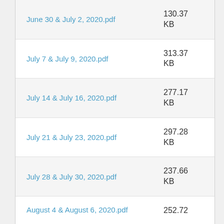June 30 & July 2, 2020.pdf
July 7 & July 9, 2020.pdf
July 14 & July 16, 2020.pdf
July 21 & July 23, 2020.pdf
July 28 & July 30, 2020.pdf
August 4 & August 6, 2020.pdf